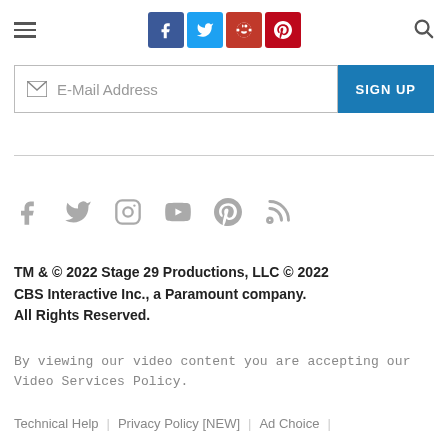[Figure (screenshot): Top navigation bar with hamburger menu, social share buttons (Facebook, Twitter, Reddit, Pinterest), and search icon]
[Figure (screenshot): Email newsletter signup bar with envelope icon, E-Mail Address placeholder text, and blue SIGN UP button]
[Figure (screenshot): Footer social media icons: Facebook, Twitter, Instagram, YouTube, Pinterest, RSS]
TM & © 2022 Stage 29 Productions, LLC © 2022 CBS Interactive Inc., a Paramount company. All Rights Reserved.
By viewing our video content you are accepting our Video Services Policy.
Technical Help | Privacy Policy [NEW] | Ad Choice |